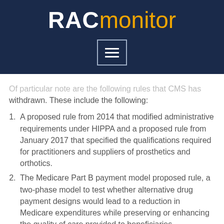RACmonitor
Of particular note are the following rules that CMS has withdrawn. These include the following:
A proposed rule from 2014 that modified administrative requirements under HIPPA and a proposed rule from January 2017 that specified the qualifications required for practitioners and suppliers of prosthetics and orthotics.
The Medicare Part B payment model proposed rule, a two-phase model to test whether alternative drug payment designs would lead to a reduction in Medicare expenditures while preserving or enhancing the quality of care provided to beneficiaries.
A proposed rule in 2014 that... (partially visible)